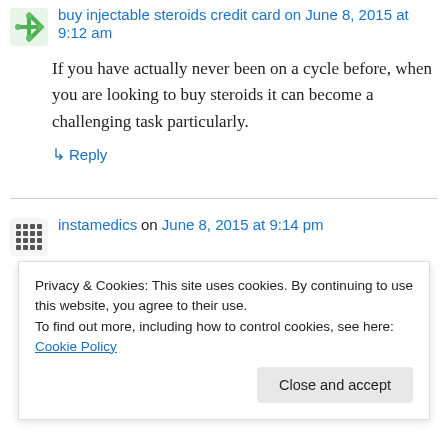buy injectable steroids credit card on June 8, 2015 at 9:12 am
If you have actually never been on a cycle before, when you are looking to buy steroids it can become a challenging task particularly.
↳ Reply
instamedics on June 8, 2015 at 9:14 pm
At the point when happening purchasing instagram followers, you must select a versatile
Privacy & Cookies: This site uses cookies. By continuing to use this website, you agree to their use.
To find out more, including how to control cookies, see here: Cookie Policy
Close and accept